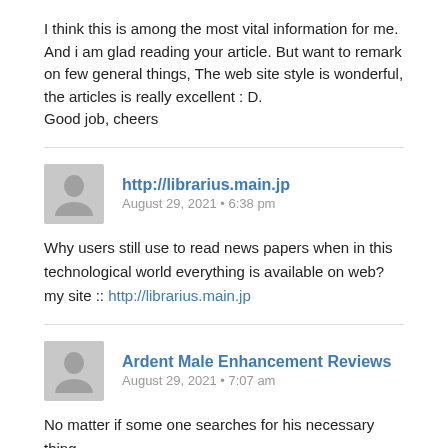I think this is among the most vital information for me.
And i am glad reading your article. But want to remark on few general things, The web site style is wonderful, the articles is really excellent : D.
Good job, cheers
http://librarius.main.jp
August 29, 2021 • 6:38 pm
Why users still use to read news papers when in this technological world everything is available on web?
my site :: http://librarius.main.jp
Ardent Male Enhancement Reviews
August 29, 2021 • 7:07 am
No matter if some one searches for his necessary thing, then he/she wants to be available that in detail, that's...